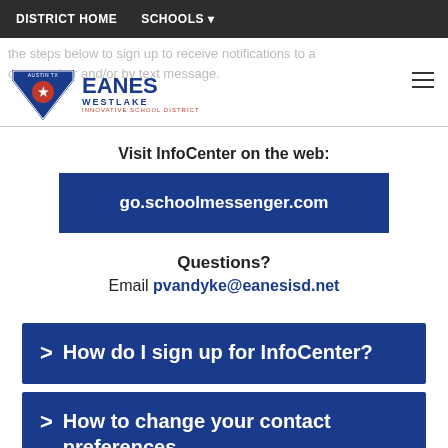DISTRICT HOME   SCHOOLS
the steps below to sign up to receive notifications to a one number and/or by text message.
[Figure (logo): Eanes Westlake Innovative School District shield logo with text]
Visit InfoCenter on the web:
go.schoolmessenger.com
Questions?
Email pvandyke@eanesisd.net
> How do I sign up for InfoCenter?
> How to change your contact preferences